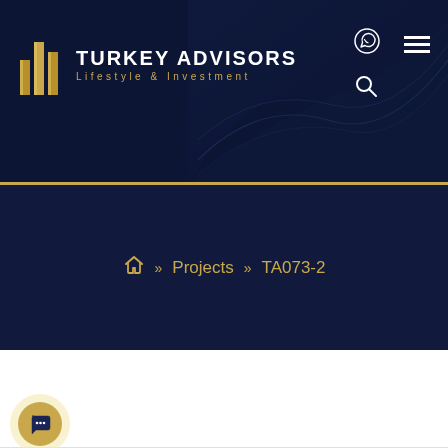[Figure (logo): Turkey Advisors Lifestyle & Investment logo with gold building icon and white text on dark navy background]
TURKEY ADVISORS Lifestyle & Investment
🏠 >> Projects >> TA073-2
Selling   03 Sep 2022   54 Views
Email   Share   Print   Enquire Now